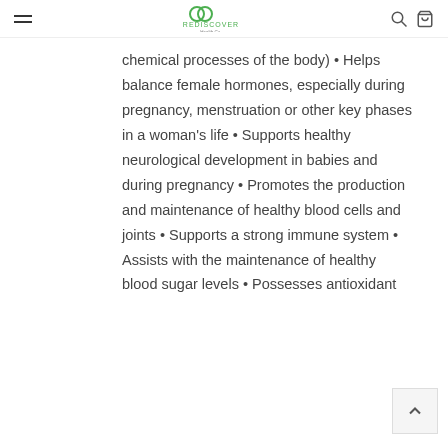Rediscover Health Co.
chemical processes of the body) • Helps balance female hormones, especially during pregnancy, menstruation or other key phases in a woman's life • Supports healthy neurological development in babies and during pregnancy • Promotes the production and maintenance of healthy blood cells and joints • Supports a strong immune system • Assists with the maintenance of healthy blood sugar levels • Possesses antioxidant